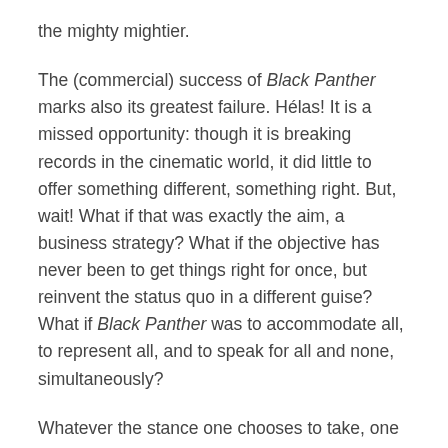the mighty mightier.
The (commercial) success of Black Panther marks also its greatest failure. Hélas! It is a missed opportunity: though it is breaking records in the cinematic world, it did little to offer something different, something right. But, wait! What if that was exactly the aim, a business strategy? What if the objective has never been to get things right for once, but reinvent the status quo in a different guise? What if Black Panther was to accommodate all, to represent all, and to speak for all and none, simultaneously?
Whatever the stance one chooses to take, one thing seems clear enough: Black Panther is not the type of Black Panther we were waiting for. And as Russell Rickford observes 'Black Panther has captured our attention. But it cannot constrain our imagination. We must transcend the film's conceptual boundaries, restoring a politics that valorizes all black life while demanding